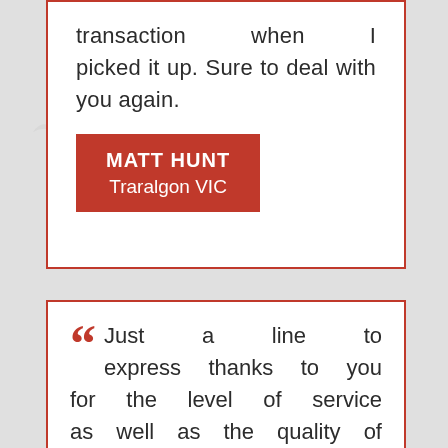transaction when I picked it up. Sure to deal with you again.
MATT HUNT
Traralgon VIC
Just a line to express thanks to you for the level of service as well as the quality of your product, also to